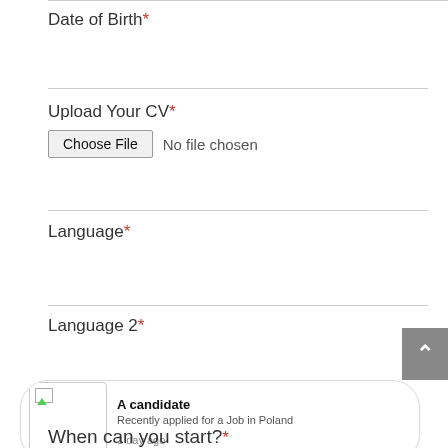Date of Birth*
Upload Your CV*
Choose File  No file chosen
Language*
Language 2*
A candidate
Recently applied for a Job in Poland
1 day ago
When can you start?*